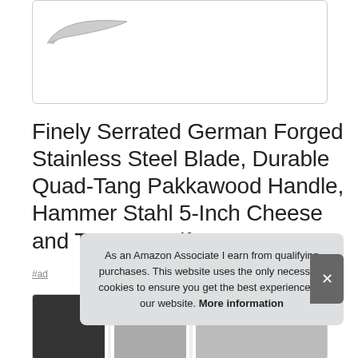[Figure (photo): Partial image of a knife blade against white background, shown in a bordered box at top of page]
Finely Serrated German Forged Stainless Steel Blade, Durable Quad-Tang Pakkawood Handle, Hammer Stahl 5-Inch Cheese and Tomato Knife
#ad
[Figure (photo): Row of product images at bottom of page showing food and knife photographs]
As an Amazon Associate I earn from qualifying purchases. This website uses the only necessary cookies to ensure you get the best experience on our website. More information